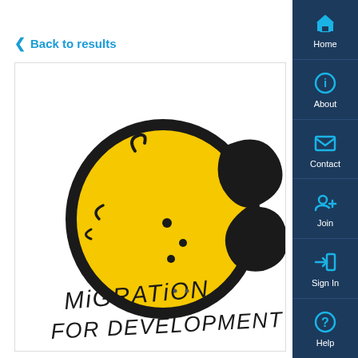< Back to results
[Figure (logo): A hand-drawn style logo showing a yellow globe/circle with dark outline, with black dot details, and handwritten text below reading 'MIGRATION FOR DEVELOPMENT']
[Figure (screenshot): Navigation sidebar with icons and labels: Home (house icon), About (info icon), Contact (envelope icon), Join (person+ icon), Sign In (arrow-right icon), Help (question mark icon)]